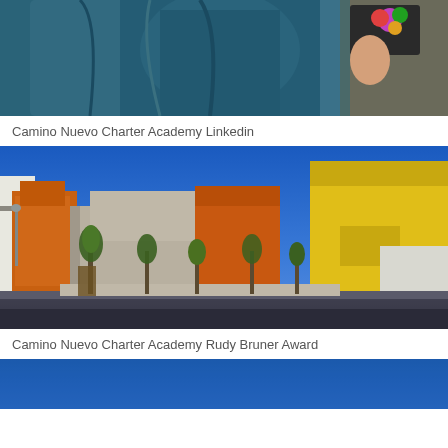[Figure (photo): Graduation ceremony photo showing students in blue/teal graduation gowns hugging and celebrating, one holding flowers]
Camino Nuevo Charter Academy Linkedin
[Figure (photo): Exterior architectural photo of Camino Nuevo Charter Academy building featuring colorful geometric forms in yellow, orange, and concrete grey under a bright blue sky with trees in front]
Camino Nuevo Charter Academy Rudy Bruner Award
[Figure (photo): Partial view of a blue background, likely another photo of Camino Nuevo Charter Academy]